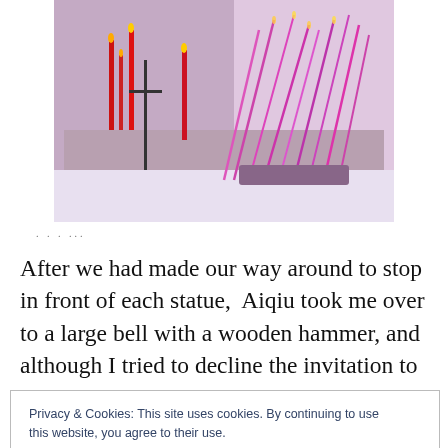[Figure (photo): Photo of candles and incense sticks burning in a temple setting, with red candles and pink/red incense sticks arranged on an altar]
. . . ...
After we had made our way around to stop in front of each statue,  Aiqiu took me over to a large bell with a wooden hammer, and although I tried to decline the invitation to
Privacy & Cookies: This site uses cookies. By continuing to use this website, you agree to their use.
To find out more, including how to control cookies, see here: Cookie Policy
Close and accept